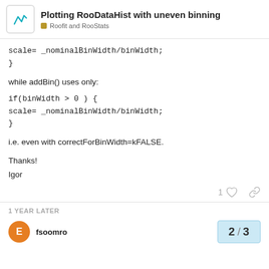Plotting RooDataHist with uneven binning — Roofit and RooStats
scale= _nominalBinWidth/binWidth;
}
while addBin() uses only:
if(binWidth > 0 ) {
scale= _nominalBinWidth/binWidth;
}
i.e. even with correctForBinWidth=kFALSE.
Thanks!
Igor
1 YEAR LATER
fsoomro
2 / 3